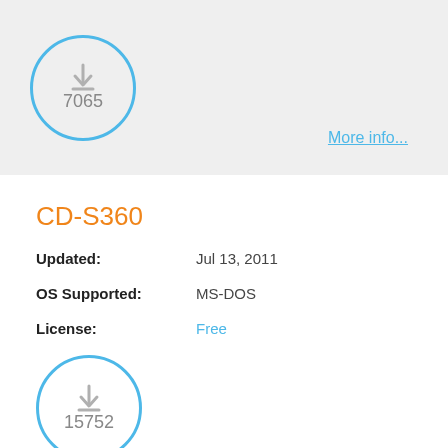[Figure (infographic): Download circle icon with count 7065 in blue circle border on grey background]
More info...
CD-S360
Updated: Jul 13, 2011
OS Supported: MS-DOS
License: Free
[Figure (infographic): Download circle icon with count 15752 in blue circle border on white background]
More info...